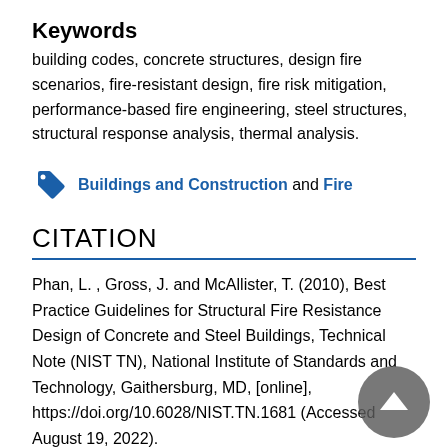Keywords
building codes, concrete structures, design fire scenarios, fire-resistant design, fire risk mitigation, performance-based fire engineering, steel structures, structural response analysis, thermal analysis.
Buildings and Construction and Fire
CITATION
Phan, L. , Gross, J. and McAllister, T. (2010), Best Practice Guidelines for Structural Fire Resistance Design of Concrete and Steel Buildings, Technical Note (NIST TN), National Institute of Standards and Technology, Gaithersburg, MD, [online], https://doi.org/10.6028/NIST.TN.1681 (Accessed August 19, 2022).